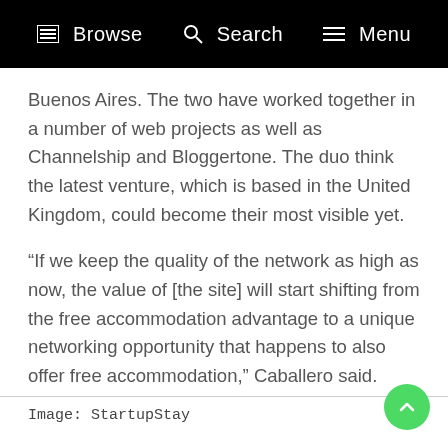Browse  Search  Menu
Buenos Aires. The two have worked together in a number of web projects as well as Channelship and Bloggertone. The duo think the latest venture, which is based in the United Kingdom, could become their most visible yet.
“If we keep the quality of the network as high as now, the value of [the site] will start shifting from the free accommodation advantage to a unique networking opportunity that happens to also offer free accommodation,” Caballero said.
Image: StartupStay